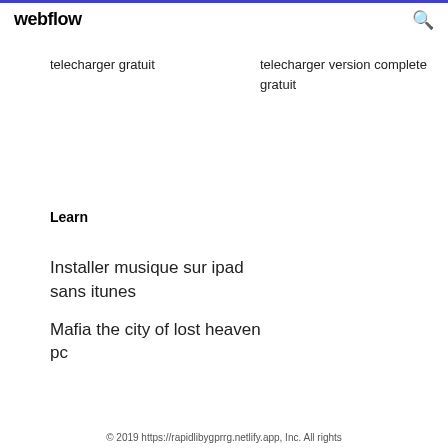webflow
telecharger gratuit
telecharger version complete gratuit
Learn
Installer musique sur ipad sans itunes
Mafia the city of lost heaven pc
© 2019 https://rapidlibygprrg.netlify.app, Inc. All rights